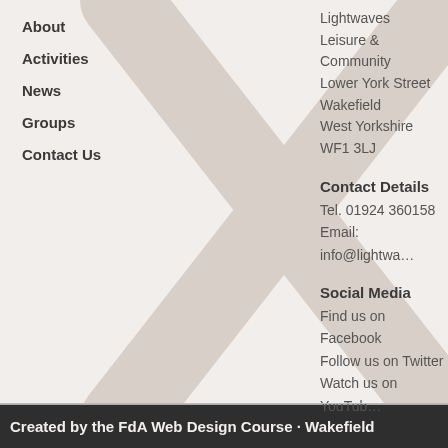About
Activities
News
Groups
Contact Us
Lightwaves
Leisure & Community
Lower York Street
Wakefield
West Yorkshire
WF1 3LJ
Contact Details
Tel. 01924 360158
Email: info@lightwa…
Social Media
Find us on Facebook
Follow us on Twitter
Watch us on YouTub…
Created by the FdA Web Design Course · Wakefield